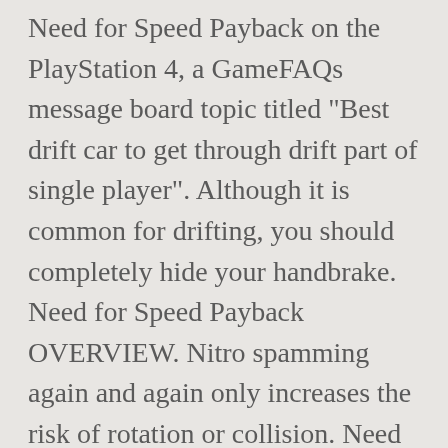Need for Speed Payback on the PlayStation 4, a GameFAQs message board topic titled "Best drift car to get through drift part of single player". Although it is common for drifting, you should completely hide your handbrake. Need for Speed Payback OVERVIEW. Nitro spamming again and again only increases the risk of rotation or collision. Need For Speed Payback Top 5 Drift Cars **UPDATED** - YouTube Need for Speedâ ¢ Payback; Need for Speed (2015) Need for Speed No Limits; ... Every time I'm supposed to drift my car just turns instead ... at all. Keeping low multipliers are not a very effective way of drifting, as it will not give you a good score in the end. The Drift Dealership is a dealership location in Need for Speed: Payback